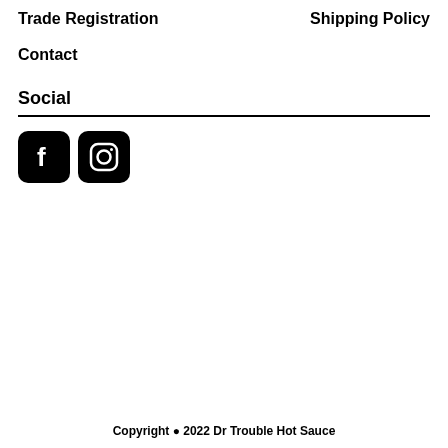Trade Registration
Shipping Policy
Contact
Social
[Figure (illustration): Facebook icon (black rounded square with white 'f') and Instagram icon (black rounded square with white camera outline)]
Copyright © 2022 Dr Trouble Hot Sauce